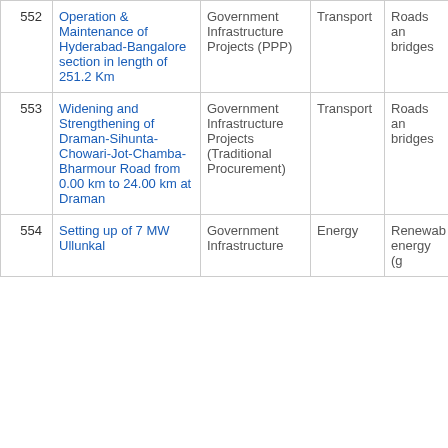|  |  |  |  |  |
| --- | --- | --- | --- | --- |
| 552 | Operation & Maintenance of Hyderabad-Bangalore section in length of 251.2 Km | Government Infrastructure Projects (PPP) | Transport | Roads an bridges |
| 553 | Widening and Strengthening of Draman-Sihunta-Chowari-Jot-Chamba-Bharmour Road from 0.00 km to 24.00 km at Draman | Government Infrastructure Projects (Traditional Procurement) | Transport | Roads an bridges |
| 554 | Setting up of 7 MW Ullunkal | Government Infrastructure | Energy | Renewab energy (g |